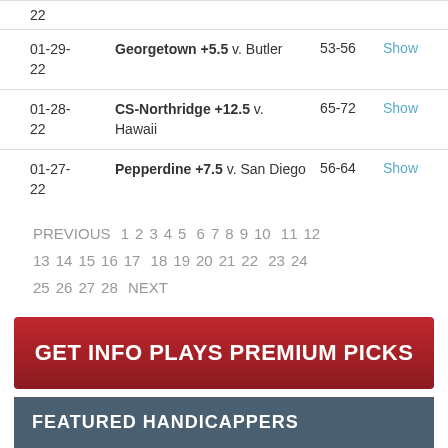| Date | Pick | Score | Action |
| --- | --- | --- | --- |
| 22 |  |  |  |
| 01-29-22 | Georgetown +5.5 v. Butler | 53-56 | Show |
| 01-28-22 | CS-Northridge +12.5 v. Hawaii | 65-72 | Show |
| 01-27-22 | Pepperdine +7.5 v. San Diego | 56-64 | Show |
PREVIOUS 1 2 3 4 5 6 7 8 9 10 11 12 13 14 15 16 17 18 19 20 21 22 23 24 25 26 27 28 NEXT
[Figure (other): GET INFO PLAYS PREMIUM PICKS red banner button]
FEATURED HANDICAPPERS